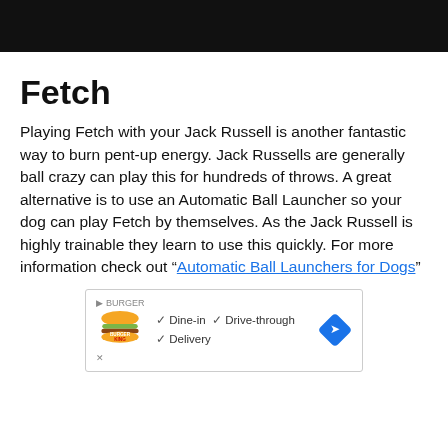Fetch
Playing Fetch with your Jack Russell is another fantastic way to burn pent-up energy. Jack Russells are generally ball crazy can play this for hundreds of throws. A great alternative is to use an Automatic Ball Launcher so your dog can play Fetch by themselves. As the Jack Russell is highly trainable they learn to use this quickly. For more information check out “Automatic Ball Launchers for Dogs”
[Figure (other): Burger King advertisement banner with logo, checkmarks for Dine-in, Drive-through, Delivery, and a blue diamond arrow icon]